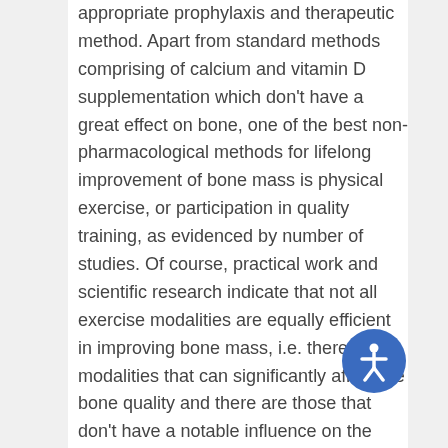appropriate prophylaxis and therapeutic method. Apart from standard methods comprising of calcium and vitamin D supplementation which don't have a great effect on bone, one of the best non-pharmacological methods for lifelong improvement of bone mass is physical exercise, or participation in quality training, as evidenced by number of studies. Of course, practical work and scientific research indicate that not all exercise modalities are equally efficient in improving bone mass, i.e. there are modalities that can significantly affect the bone quality and there are those that don't have a notable influence on the same. Therefore, it is necessary to determine most efficient physical exercise modalities for in improving bone mass quality in different age groups through inspection of previous studies. The importance of physical activity in enhancing bone quality, i.e. increasing bone mass and strength is evidenced by number of studies showing positive effects of exercise on bone structure of children and